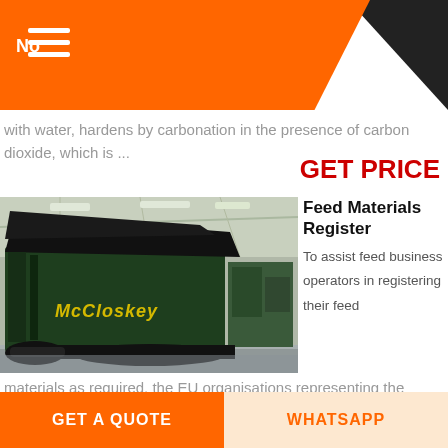with water, hardens by carbonation in the presence of carbon dioxide, which is ...
GET PRICE
[Figure (photo): McCloskey green industrial screening/recycling machine inside a warehouse/industrial hall]
Feed Materials Register
To assist feed business operators in registering their feed materials as required, the EU organisations representing the European feed business sectors ...
materials as required, the EU organisations representing the European feed business sectors ...